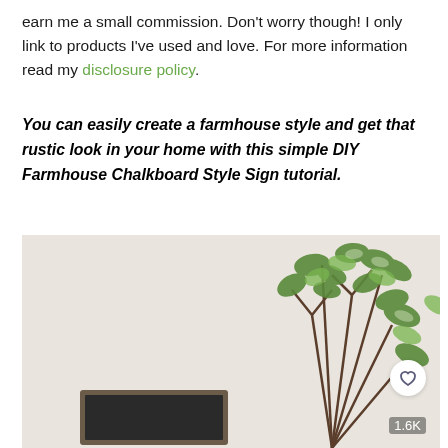earn me a small commission. Don't worry though! I only link to products I've used and love. For more information read my disclosure policy.
You can easily create a farmhouse style and get that rustic look in your home with this simple DIY Farmhouse Chalkboard Style Sign tutorial.
[Figure (photo): Photo of a farmhouse-style chalkboard sign with a rustic wooden frame, beside tall green leafy branches against a light beige wall. A heart/save button and '1.6K' count overlay visible.]